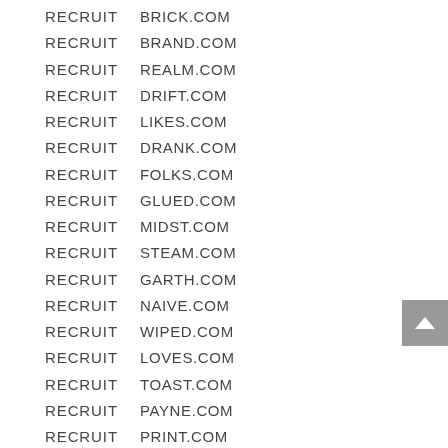RECRUIT  BRICK.COM
RECRUIT  BRAND.COM
RECRUIT  REALM.COM
RECRUIT  DRIFT.COM
RECRUIT  LIKES.COM
RECRUIT  DRANK.COM
RECRUIT  FOLKS.COM
RECRUIT  GLUED.COM
RECRUIT  MIDST.COM
RECRUIT  STEAM.COM
RECRUIT  GARTH.COM
RECRUIT  NAIVE.COM
RECRUIT  WIPED.COM
RECRUIT  LOVES.COM
RECRUIT  TOAST.COM
RECRUIT  PAYNE.COM
RECRUIT  PRINT.COM
RECRUIT  SQUAD.COM
RECRUIT  RESTS.COM